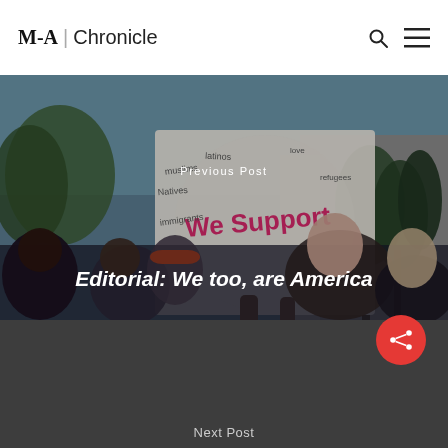M-A | Chronicle
[Figure (photo): Photo of protesters holding a sign reading 'We Support' with words like Muslims, Natives, Latinos, Immigrants, love, refugees written on it. Below is a crowd of students/protesters.]
Previous Post
Editorial: We too, are America
Next Post